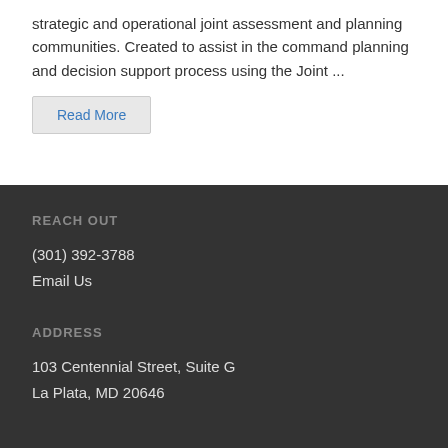strategic and operational joint assessment and planning communities. Created to assist in the command planning and decision support process using the Joint ...
Read More
REACH OUT
(301) 392-3788
Email Us
ADDRESS
103 Centennial Street, Suite G
La Plata, MD 20646